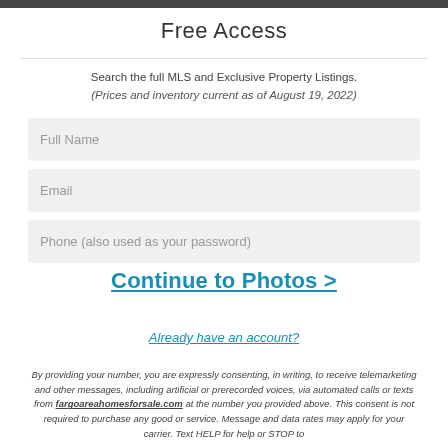Free Access
Search the full MLS and Exclusive Property Listings.
(Prices and inventory current as of August 19, 2022)
Full Name
Email
Phone (also used as your password)
Continue to Photos >
Already have an account?
By providing your number, you are expressly consenting, in writing, to receive telemarketing and other messages, including artificial or prerecorded voices, via automated calls or texts from fargoareahomesforsale.com at the number you provided above. This consent is not required to purchase any good or service. Message and data rates may apply for your carrier. Text HELP for help or STOP to